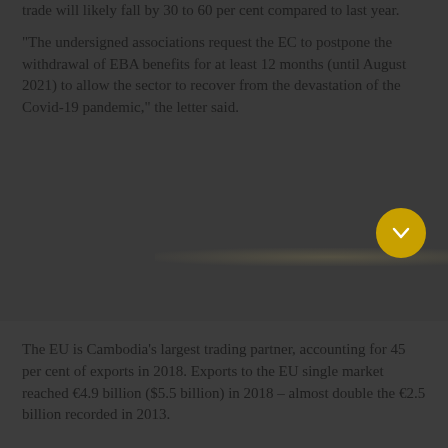trade will likely fall by 30 to 60 per cent compared to last year.
"The undersigned associations request the EC to postpone the withdrawal of EBA benefits for at least 12 months (until August 2021) to allow the sector to recover from the devastation of the Covid-19 pandemic," the letter said.
The EU is Cambodia's largest trading partner, accounting for 45 per cent of exports in 2018. Exports to the EU single market reached €4.9 billion ($5.5 billion) in 2018 – almost double the €2.5 billion recorded in 2013.